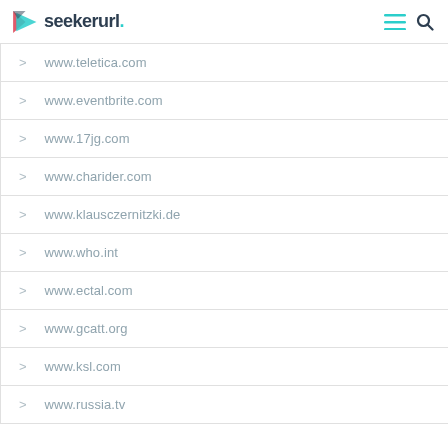seekerurl.
www.teletica.com
www.eventbrite.com
www.17jg.com
www.charider.com
www.klausczernitzki.de
www.who.int
www.ectal.com
www.gcatt.org
www.ksl.com
www.russia.tv